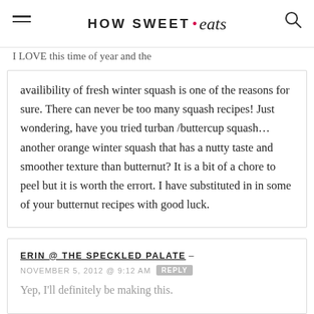HOW SWEET eats
I LOVE this time of year and the availibility of fresh winter squash is one of the reasons for sure. There can never be too many squash recipes! Just wondering, have you tried turban /buttercup squash…another orange winter squash that has a nutty taste and smoother texture than butternut? It is a bit of a chore to peel but it is worth the errort. I have substituted in in some of your butternut recipes with good luck.
ERIN @ THE SPECKLED PALATE – NOVEMBER 5, 2012 @ 9:12 AM REPLY
Yep, I'll definitely be making this.